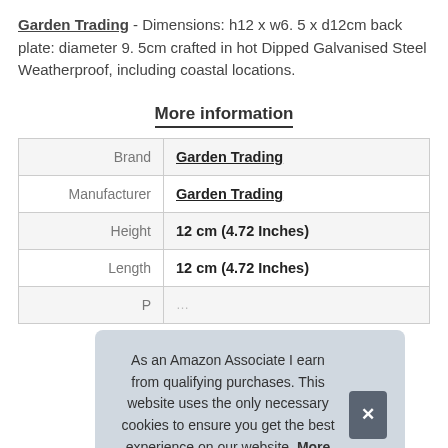Garden Trading - Dimensions: h12 x w6. 5 x d12cm back plate: diameter 9. 5cm crafted in hot Dipped Galvanised Steel Weatherproof, including coastal locations.
More information
|  |  |
| --- | --- |
| Brand | Garden Trading |
| Manufacturer | Garden Trading |
| Height | 12 cm (4.72 Inches) |
| Length | 12 cm (4.72 Inches) |
| P | … |
As an Amazon Associate I earn from qualifying purchases. This website uses the only necessary cookies to ensure you get the best experience on our website. More information